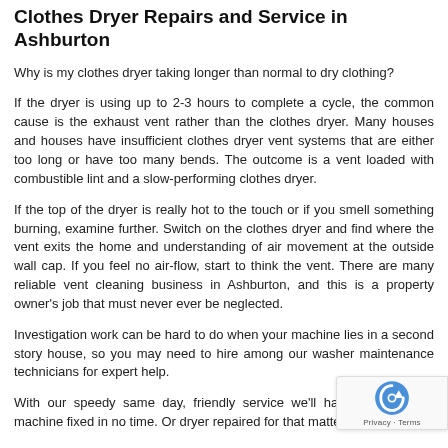Clothes Dryer Repairs and Service in Ashburton
Why is my clothes dryer taking longer than normal to dry clothing?
If the dryer is using up to 2-3 hours to complete a cycle, the common cause is the exhaust vent rather than the clothes dryer. Many houses and houses have insufficient clothes dryer vent systems that are either too long or have too many bends. The outcome is a vent loaded with combustible lint and a slow-performing clothes dryer.
If the top of the dryer is really hot to the touch or if you smell something burning, examine further. Switch on the clothes dryer and find where the vent exits the home and understanding of air movement at the outside wall cap. If you feel no air-flow, start to think the vent. There are many reliable vent cleaning business in Ashburton, and this is a property owner's job that must never ever be neglected.
Investigation work can be hard to do when your machine lies in a second story house, so you may need to hire among our washer maintenance technicians for expert help.
With our speedy same day, friendly service we'll have your wa… machine fixed in no time. Or dryer repaired for that matter. No…